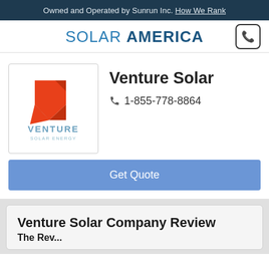Owned and Operated by Sunrun Inc. How We Rank
SOLAR AMERICA
[Figure (logo): Venture Solar Energy logo: red/orange angular arrow shape above the text VENTURE SOLAR ENERGY in blue-grey]
Venture Solar
1-855-778-8864
Get Quote
Venture Solar Company Review
The Rev...